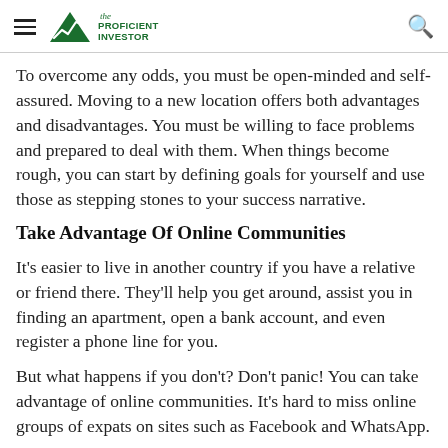The Proficient Investor
To overcome any odds, you must be open-minded and self-assured. Moving to a new location offers both advantages and disadvantages. You must be willing to face problems and prepared to deal with them. When things become rough, you can start by defining goals for yourself and use those as stepping stones to your success narrative.
Take Advantage Of Online Communities
It's easier to live in another country if you have a relative or friend there. They'll help you get around, assist you in finding an apartment, open a bank account, and even register a phone line for you.
But what happens if you don't? Don't panic! You can take advantage of online communities. It's hard to miss online groups of expats on sites such as Facebook and WhatsApp.